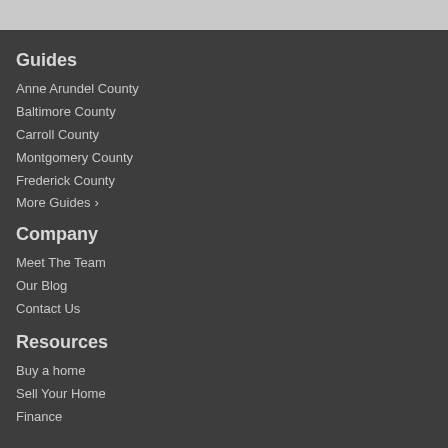Guides
Anne Arundel County
Baltimore County
Carroll County
Montgomery County
Frederick County
More Guides >
Company
Meet The Team
Our Blog
Contact Us
Resources
Buy a home
Sell Your Home
Finance